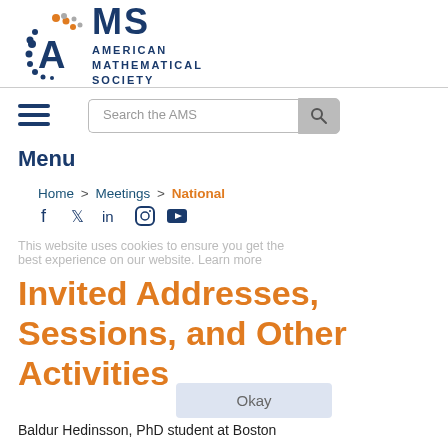[Figure (logo): American Mathematical Society logo with AMS text and circular dot pattern in orange and blue]
[Figure (screenshot): Search bar with text 'Search the AMS' and search button]
Menu
Home > Meetings > National
[Figure (infographic): Social media icons: Facebook, Twitter, LinkedIn, Instagram, YouTube]
This website uses cookies to ensure you get the best experience on our website. Learn more
Invited Addresses, Sessions, and Other Activities
Okay
Baldur Hedinsson, PhD student at Boston